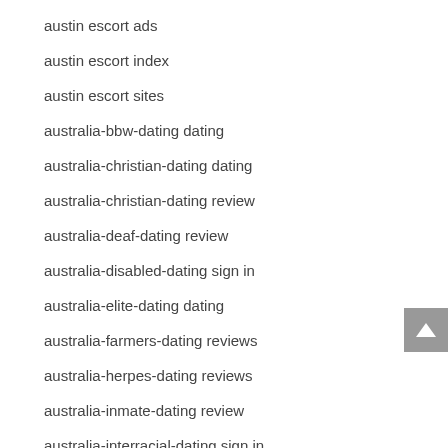austin escort ads
austin escort index
austin escort sites
australia-bbw-dating dating
australia-christian-dating dating
australia-christian-dating review
australia-deaf-dating review
australia-disabled-dating sign in
australia-elite-dating dating
australia-farmers-dating reviews
australia-herpes-dating reviews
australia-inmate-dating review
australia-interracial-dating sign in
australia-lesbian-dating dating